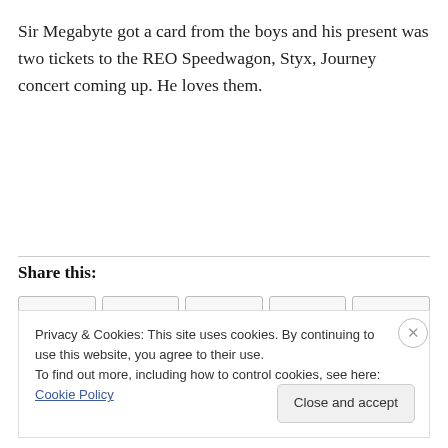Sir Megabyte got a card from the boys and his present was two tickets to the REO Speedwagon, Styx, Journey concert coming up. He loves them.
Share this:
Privacy & Cookies: This site uses cookies. By continuing to use this website, you agree to their use.
To find out more, including how to control cookies, see here: Cookie Policy